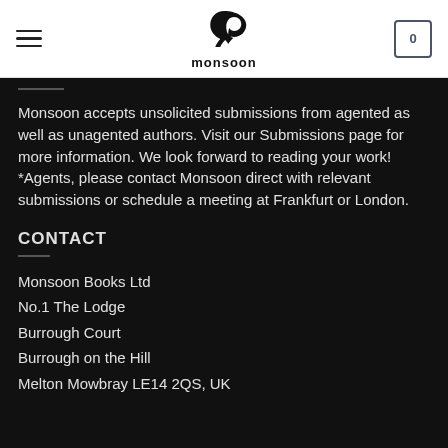monsoon (logo with hamburger menu and cart showing 0)
Monsoon accepts unsolicited submissions from agented as well as unagented authors. Visit our Submissions page for more information. We look forward to reading your work! *Agents, please contact Monsoon direct with relevant submissions or schedule a meeting at Frankfurt or London.
CONTACT
Monsoon Books Ltd
No.1 The Lodge
Burrough Court
Burrough on the Hill
Melton Mowbray LE14 2QS, UK